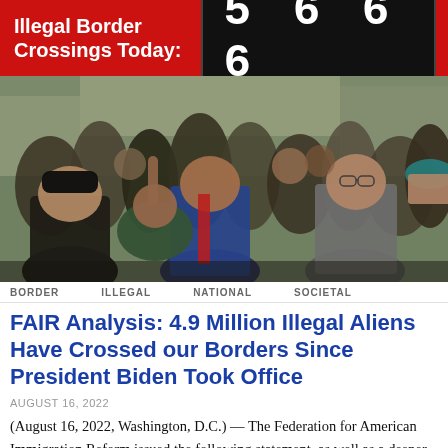Illegal Border Crossings Today: 5 6 6 6
[Figure (photo): Large crowd of people marching, some raising hands, carrying backpacks, diverse group outdoors in an urban setting]
BORDER   ILLEGAL   NATIONAL   SOCIETAL
FAIR Analysis: 4.9 Million Illegal Aliens Have Crossed our Borders Since President Biden Took Office
AUGUST 16, 2022
(August 16, 2022, Washington, D.C.) — The Federation for American Immigration Reform issued the following statement, as well as a deeper dive into the growing border crisis, based on data quietly released yesterday by the Biden